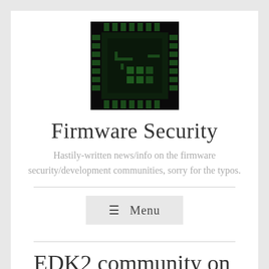[Figure (logo): Black square with dark green circuit chip/microcontroller icon showing pin connectors on all sides and chip details]
Firmware Security
Hastily-written news/info on the firmware security/development communities, sorry for the typos.
≡ Menu
EDK2 community on IRC